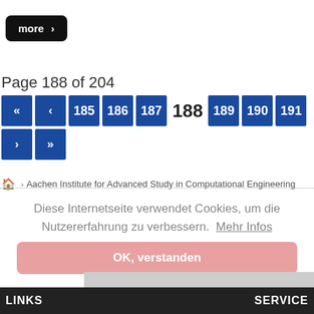[Figure (screenshot): A 'more >' button with black rounded rectangle background and white text]
Page 188 of 204
[Figure (screenshot): Pagination navigation showing pages 185, 186, 187, current page 188 (bold), 189, 190, 191, next and last buttons]
Aachen Institute for Advanced Study in Computational Engineering
Diese Internetseite verwendet Cookies, um die Nutzererfahrung zu verbessern. Mehr Infos
OK, verstanden
LINKS   SERVICE